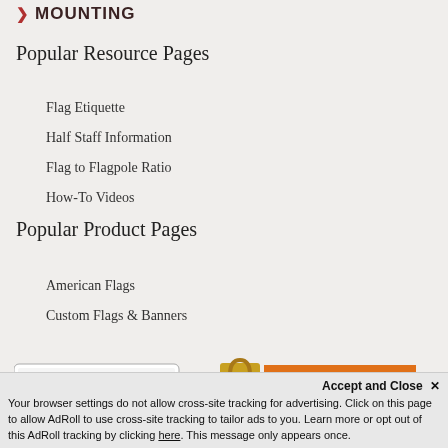> MOUNTING
Popular Resource Pages
Flag Etiquette
Half Staff Information
Flag to Flagpole Ratio
How-To Videos
Popular Product Pages
American Flags
Custom Flags & Banners
[Figure (logo): PayPal accepted payment methods badge showing MasterCard, Visa, Amex, Discover]
[Figure (logo): GeoTrust Secure Website padlock badge]
Accept and Close ×
Your browser settings do not allow cross-site tracking for advertising. Click on this page to allow AdRoll to use cross-site tracking to tailor ads to you. Learn more or opt out of this AdRoll tracking by clicking here. This message only appears once.